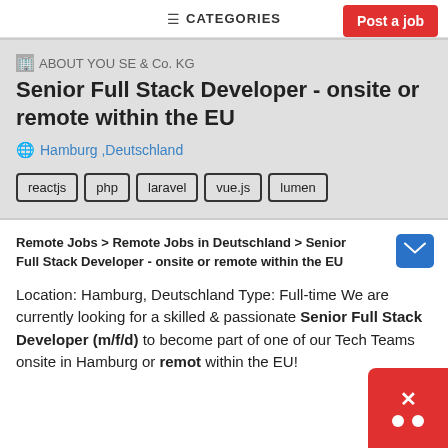≡ CATEGORIES
Post a job
🏢 ABOUT YOU SE & Co. KG
Senior Full Stack Developer - onsite or remote within the EU
🌐 Hamburg ,Deutschland
reactjs
php
laravel
vue.js
lumen
Remote Jobs > Remote Jobs in Deutschland > Senior Full Stack Developer - onsite or remote within the EU
Location: Hamburg, Deutschland Type: Full-time We are currently looking for a skilled & passionate Senior Full Stack Developer (m/f/d) to become part of one of our Tech Teams onsite in Hamburg or remote within the EU!